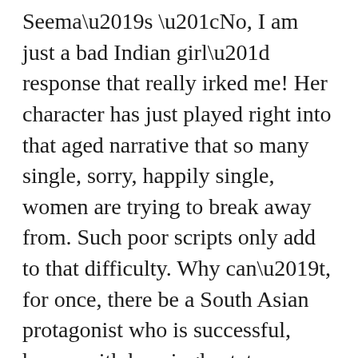Seema's “No, I am just a bad Indian girl” response that really irked me! Her character has just played right into that aged narrative that so many single, sorry, happily single, women are trying to break away from. Such poor scripts only add to that difficulty. Why can’t, for once, there be a South Asian protagonist who is successful, happy with her single status, without appearing as if she is a rebel with a cause? It would have been so refreshing to have seen a Diwali party where the subject of “when will my daughter marry?” is not the focal point and is replaced with a funny, witty